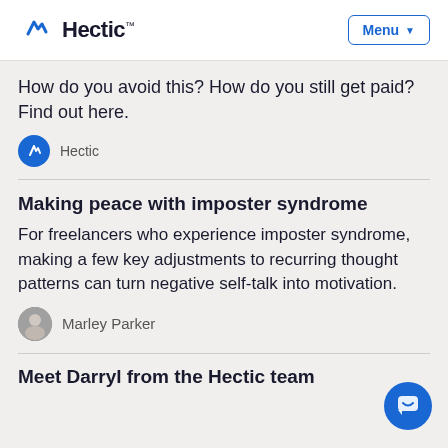Hectic™ — Menu
How do you avoid this? How do you still get paid? Find out here.
Hectic
Making peace with imposter syndrome
For freelancers who experience imposter syndrome, making a few key adjustments to recurring thought patterns can turn negative self-talk into motivation.
Marley Parker
Meet Darryl from the Hectic team